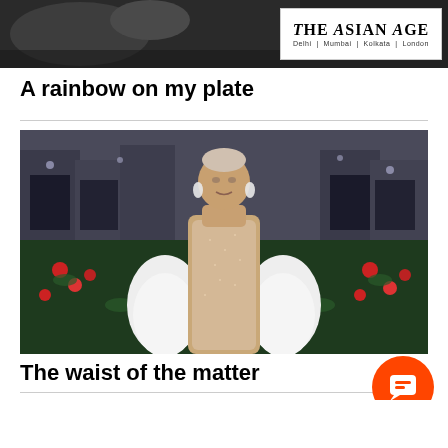The Asian Age | Delhi | Mumbai | Kolkata | London
A rainbow on my plate
[Figure (photo): A woman in a beige/gold sparkly form-fitting dress with white fur stole at what appears to be a red carpet event, with photographers and crowd in the background and red flowers visible]
The waist of the matter